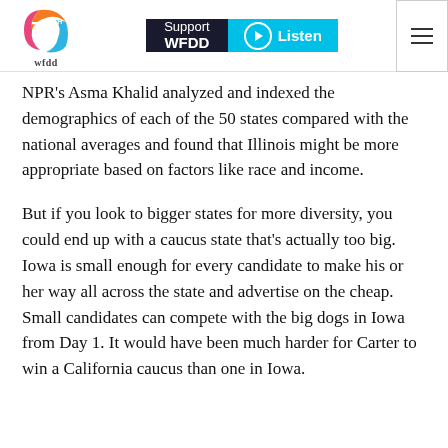WFDD 75th — Support WFDD | Listen | Menu
NPR's Asma Khalid analyzed and indexed the demographics of each of the 50 states compared with the national averages and found that Illinois might be more appropriate based on factors like race and income.
But if you look to bigger states for more diversity, you could end up with a caucus state that's actually too big. Iowa is small enough for every candidate to make his or her way all across the state and advertise on the cheap. Small candidates can compete with the big dogs in Iowa from Day 1. It would have been much harder for Carter to win a California caucus than one in Iowa.